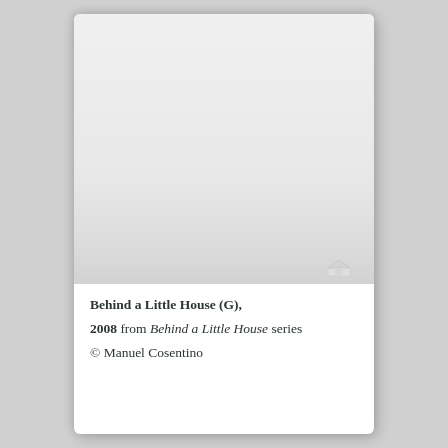[Figure (photo): A nearly all-white/grey minimalist photograph, very faint landscape with a tiny house shape visible at the bottom right corner. Part of the 'Behind a Little House' series by Manuel Cosentino.]
Behind a Little House (G),
2008 from Behind a Little House series
© Manuel Cosentino